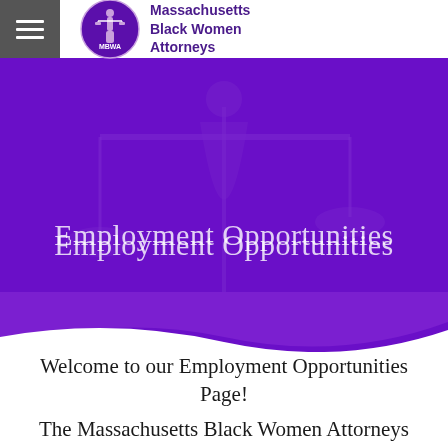Massachusetts Black Women Attorneys
Employment Opportunities
Welcome to our Employment Opportunities Page!
The Massachusetts Black Women Attorneys